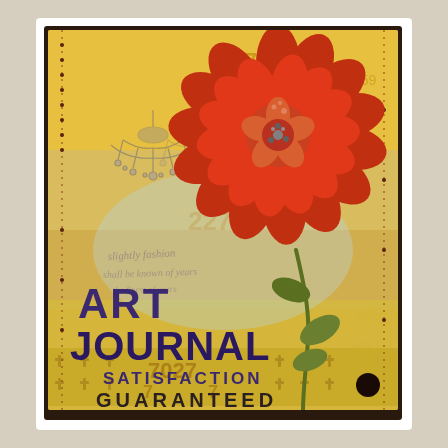[Figure (illustration): Mixed media art journal tag card with collage elements: yellow/orange textured background with stamped numbers (9927, 7, 5027, etc.), a gray chandelier illustration on the left, a large red dahlia flower with dimensional center on the right side with a green stem and leaves, cursive script text overlay, decorative border at bottom with repeating ornamental pattern, text reading 'ART JOURNAL SATISFACTION GUARANTEED' in bold purple/dark letters, and a black circle punch hole at bottom right]